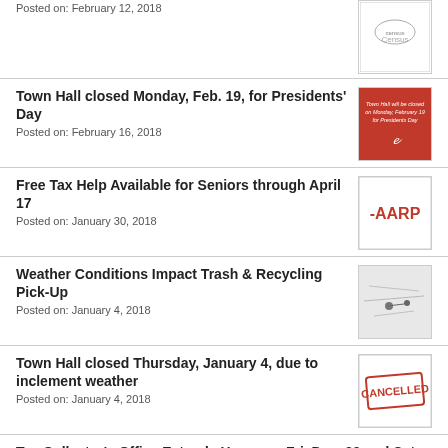Posted on: February 12, 2018
Town Hall closed Monday, Feb. 19, for Presidents' Day
Posted on: February 16, 2018
Free Tax Help Available for Seniors through April 17
Posted on: January 30, 2018
Weather Conditions Impact Trash & Recycling Pick-Up
Posted on: January 4, 2018
Town Hall closed Thursday, January 4, due to inclement weather
Posted on: January 4, 2018
Tax Collector's Office Extends Hours on Fri, Dec. 29 and Sat, Dec. 30
Posted on: December 27, 2017